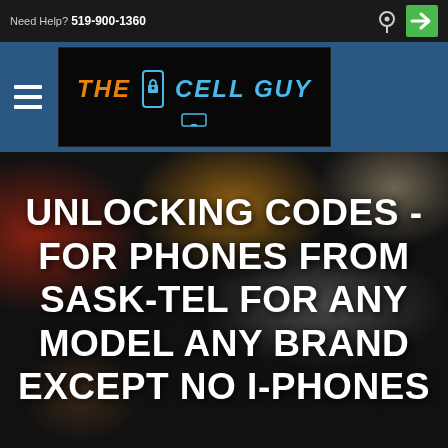Need Help? 519-900-1360
[Figure (logo): The Cell Guy logo – orange 'THE', cyan 'CELL GUY' text with stylized phone/lock graphic on black background]
UNLOCKING CODES - FOR PHONES FROM SASK-TEL FOR ANY MODEL ANY BRAND EXCEPT NO I-PHONES